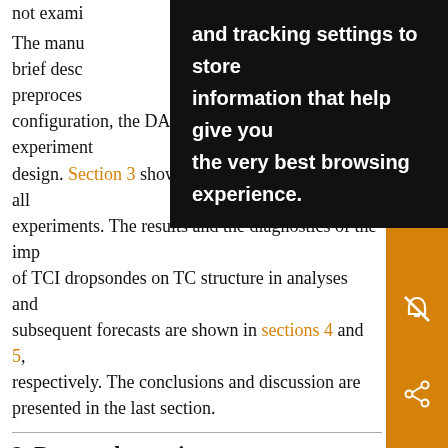not exami… and tracking settings to store information that help give you the very best browsing experience. …ives a brief desc… preproces… configuration, the DA system, as well as the experiment design. Section 3 shows the intensity forecasts for all experiments. The results and the diagnostics of the imp of TCI dropsondes on TC structure in analyses and subsequent forecasts are shown in sections 4 and 5, respectively. The conclusions and discussion are presented in the last section.
2. Data and experiments
a. Description of the case
Patricia was an eastern North Pacific TC with a lifetime of just 4.5 days (Kimberlein et al. 2015; Doyle et al.